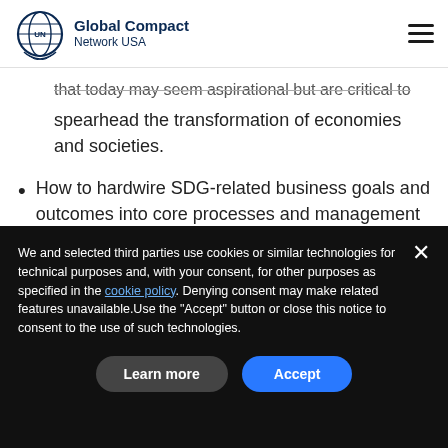Global Compact Network USA
that today may seem aspirational but are critical to spearhead the transformation of economies and societies.
How to hardwire SDG-related business goals and outcomes into core processes and management of business, to materially.
We and selected third parties use cookies or similar technologies for technical purposes and, with your consent, for other purposes as specified in the cookie policy. Denying consent may make related features unavailable.Use the “Accept” button or close this notice to consent to the use of such technologies.